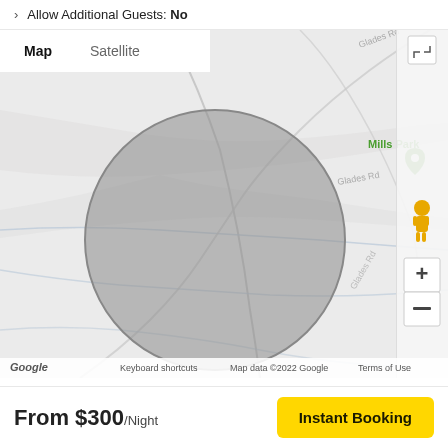Allow Additional Guests: No
[Figure (map): Google Map showing approximate location area with a grey circle overlay indicating the property's approximate location. Map/Satellite tab toggle at top left, expand icon at top right, zoom controls and pegman on the right side. Shows Glades Rd area and Mills Park label. Footer shows 'Keyboard shortcuts', 'Map data ©2022 Google', 'Terms of Use'.]
From $300/Night
Instant Booking